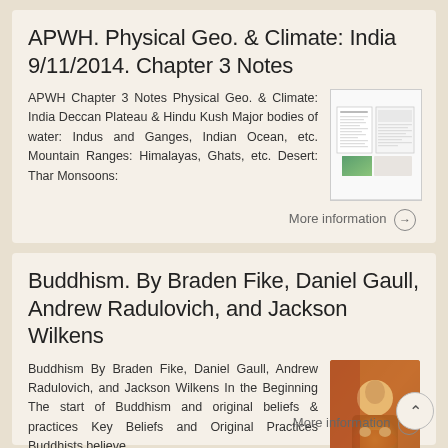APWH. Physical Geo. & Climate: India 9/11/2014. Chapter 3 Notes
APWH Chapter 3 Notes Physical Geo. & Climate: India Deccan Plateau & Hindu Kush Major bodies of water: Indus and Ganges, Indian Ocean, etc. Mountain Ranges: Himalayas, Ghats, etc. Desert: Thar Monsoons:
[Figure (thumbnail): Thumbnail image of chapter 3 notes with document preview and green landscape image]
More information ➔
Buddhism. By Braden Fike, Daniel Gaull, Andrew Radulovich, and Jackson Wilkens
Buddhism By Braden Fike, Daniel Gaull, Andrew Radulovich, and Jackson Wilkens In the Beginning The start of Buddhism and original beliefs & practices Key Beliefs and Original Practices Buddhists believe
[Figure (photo): Thumbnail photo of a Buddhist figure in traditional orange robes with hands in prayer position]
More information ➔